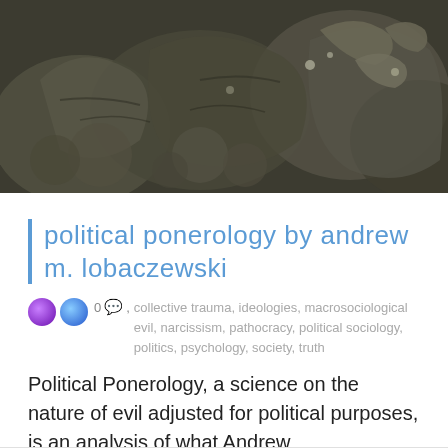[Figure (photo): Close-up photograph of a dark stone or metal sculptural relief showing intricate carved figures or decorative elements, appearing ancient or temple-related.]
political ponerology by andrew m. lobaczewski
0 , collective trauma, ideologies, macrosociological evil, narcissism, pathocracy, political sociology, politics, psychology, society, truth
Political Ponerology, a science on the nature of evil adjusted for political purposes, is an analysis of what Andrew Lobaczewski...